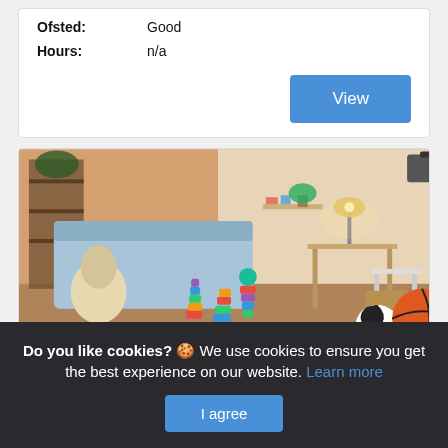| Ofsted: | Good |
| Hours: | n/a |
[Figure (photo): A warmly lit children's room with colourful stacking toys, stuffed animals, a basketball, a soccer ball, and a desk lamp in the background.]
Slm At Lammas Leisure Centre (creche)
Do you like cookies? 🍪 We use cookies to ensure you get the best experience on our website. Learn more
I agree